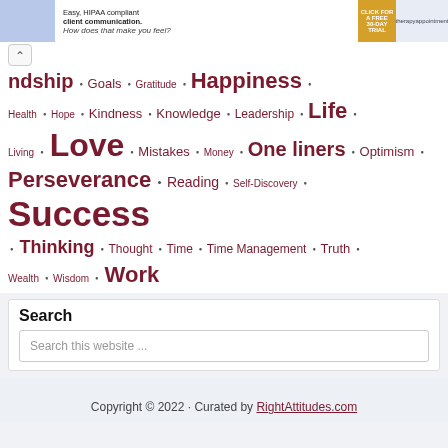[Figure (other): Advertisement banner for therapyappointment.com showing HIPAA compliant client communication with a free 30-day trial CTA]
Friendship • Goals • Gratitude • Happiness • Health • Hope • Kindness • Knowledge • Leadership • Life • Living • Love • Mistakes • Money • One liners • Optimism • Perseverance • Reading • Self-Discovery • Success • Thinking • Thought • Time • Time Management • Truth • Wealth • Wisdom • Work
Search
Search this website ...
Copyright © 2022 · Curated by RightAttitudes.com